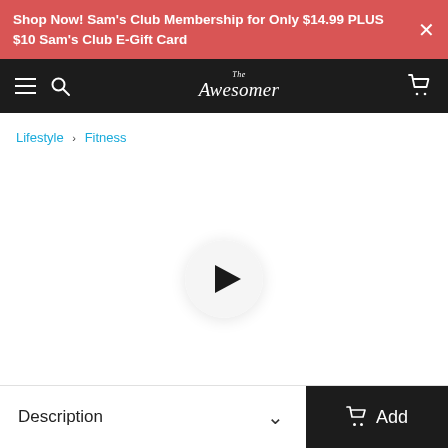Shop Now! Sam's Club Membership for Only $14.99 PLUS $10 Sam's Club E-Gift Card
The Awesomer — navigation bar with hamburger menu, search, logo, and cart icon
Lifestyle › Fitness
[Figure (other): Video player area with a white circular play button centered on a white/light background]
Description
Add